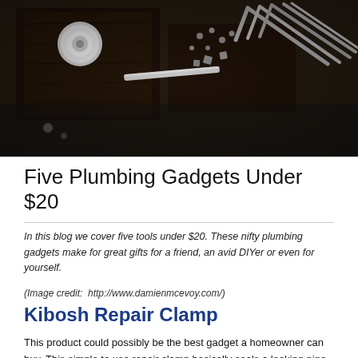[Figure (photo): Overhead photo of workshop tools including allen wrenches, screws, and metal hardware on a dark wooden surface]
Five Plumbing Gadgets Under $20
In this blog we cover five tools under $20. These nifty plumbing gadgets make for great gifts for a friend, an avid DIYer or even for yourself.
(Image credit:  http://www.damienmcevoy.com/)
Kibosh Repair Clamp
This product could possibly be the best gadget a homeowner can buy. This simple to use repair clamp basically seals a leaking pipe in under five seconds. It is reusable, works on metal, plastic and multilayer pipes, and can also withstand 150psi. Once the clamp is fitted on the leaking pipe, it allows the